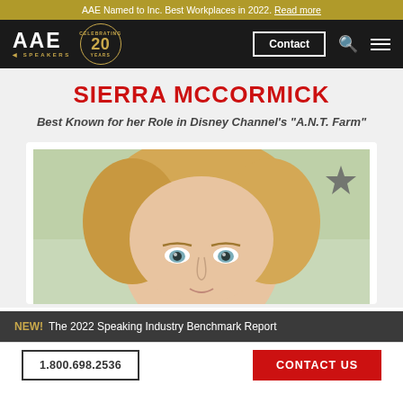AAE Named to Inc. Best Workplaces in 2022. Read more
[Figure (logo): AAE Speakers logo with 'Celebrating 20 Years' badge, Contact button, search icon, and hamburger menu on black navigation bar]
SIERRA MCCORMICK
Best Known for her Role in Disney Channel's "A.N.T. Farm"
[Figure (photo): Close-up photo of Sierra McCormick, a young blonde woman with blue-green eyes, against a light green/teal background. A star/bookmark icon is visible in the top right corner of the image card.]
NEW! The 2022 Speaking Industry Benchmark Report
1.800.698.2536   CONTACT US